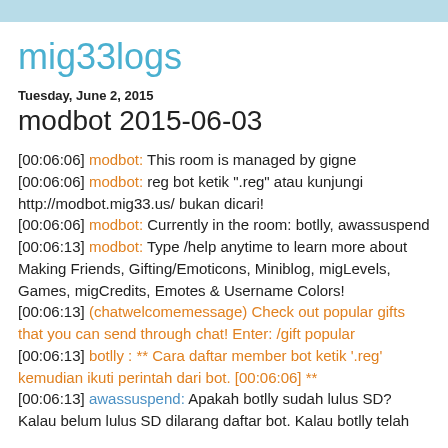mig33logs
Tuesday, June 2, 2015
modbot 2015-06-03
[00:06:06] modbot: This room is managed by gigne
[00:06:06] modbot: reg bot ketik ".reg" atau kunjungi http://modbot.mig33.us/ bukan dicari!
[00:06:06] modbot: Currently in the room: botlly, awassuspend
[00:06:13] modbot: Type /help anytime to learn more about Making Friends, Gifting/Emoticons, Miniblog, migLevels, Games, migCredits, Emotes & Username Colors!
[00:06:13] (chatwelcomemessage) Check out popular gifts that you can send through chat! Enter: /gift popular
[00:06:13] botlly : ** Cara daftar member bot ketik '.reg' kemudian ikuti perintah dari bot. [00:06:06] **
[00:06:13] awassuspend: Apakah botlly sudah lulus SD? Kalau belum lulus SD dilarang daftar bot. Kalau botlly telah